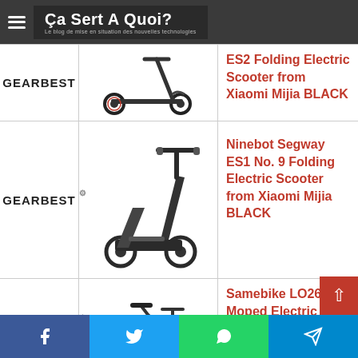Ça Sert A Quoi? - Le blog de mise en situation des nouvelles technologies
[Figure (screenshot): GearBest logo with product row 1 - Ninebot Segway ES2 Folding Electric Scooter from Xiaomi Mijia BLACK]
Ninebot Segway ES2 Folding Electric Scooter from Xiaomi Mijia BLACK
[Figure (screenshot): GearBest logo with product row 2 - Ninebot Segway ES1 No. 9 Folding Electric Scooter from Xiaomi Mijia BLACK]
Ninebot Segway ES1 No. 9 Folding Electric Scooter from Xiaomi Mijia BLACK
[Figure (screenshot): GearBest logo with product row 3 - Samebike LO26 Moped Electric]
Samebike LO26 Moped Electric
Facebook Twitter WhatsApp Telegram social share buttons